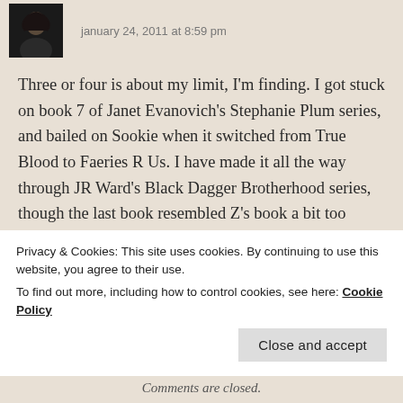january 24, 2011 at 8:59 pm
Three or four is about my limit, I'm finding. I got stuck on book 7 of Janet Evanovich's Stephanie Plum series, and bailed on Sookie when it switched from True Blood to Faeries R Us. I have made it all the way through JR Ward's Black Dagger Brotherhood series, though the last book resembled Z's book a bit too much.
I don't think I could write more than 4, but I guess that remains to be seen, since I'm still fighting with
Privacy & Cookies: This site uses cookies. By continuing to use this website, you agree to their use.
To find out more, including how to control cookies, see here: Cookie Policy
Close and accept
Comments are closed.